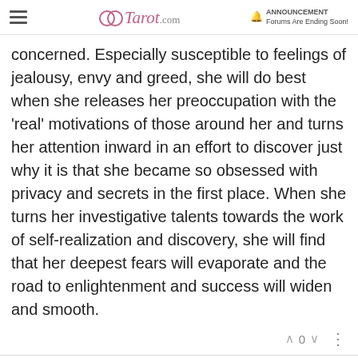Tarot.com | ANNOUNCEMENT Forums Are Ending Soon!
concerned. Especially susceptible to feelings of jealousy, envy and greed, she will do best when she releases her preoccupation with the 'real' motivations of those around her and turns her attention inward in an effort to discover just why it is that she became so obsessed with privacy and secrets in the first place. When she turns her investigative talents towards the work of self-realization and discovery, she will find that her deepest fears will evaporate and the road to enlightenment and success will widen and smooth.
miss-h Jan 8, 2011, 9:07 PM
wow, thank you very much 🙂